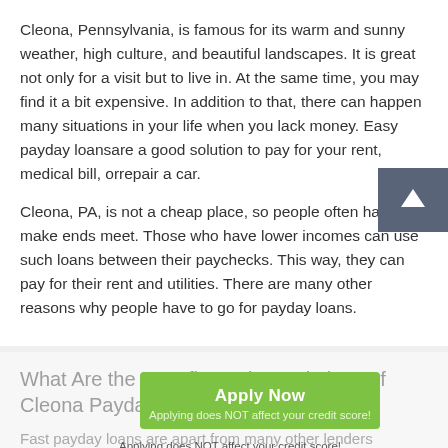Cleona, Pennsylvania, is famous for its warm and sunny weather, high culture, and beautiful landscapes. It is great not only for a visit but to live in. At the same time, you may find it a bit expensive. In addition to that, there can happen many situations in your life when you lack money. Easy payday loansare a good solution to pay for your rent, medical bill, orrepair a car.
Cleona, PA, is not a cheap place, so people often have to make ends meet. Those who have lower incomes can use such loans between their paychecks. This way, they can pay for their rent and utilities. There are many other reasons why people have to go for payday loans.
What Are the Benefits and Regulations of Cleona Payday Loans in Pennsylvania?
Fast payday loans are apart from many other lenders because of the following benefits of this service: